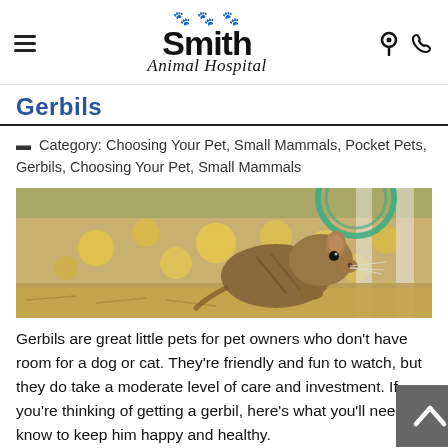Smith Animal Hospital
Gerbils
Category: Choosing Your Pet, Small Mammals, Pocket Pets, Gerbils, Choosing Your Pet, Small Mammals
[Figure (photo): A gerbil in a habitat with yellow flowers and a green exercise wheel in the background]
Gerbils are great little pets for pet owners who don't have room for a dog or cat. They're friendly and fun to watch, but they do take a moderate level of care and investment. If you're thinking of getting a gerbil, here's what you'll need to know to keep him happy and healthy.